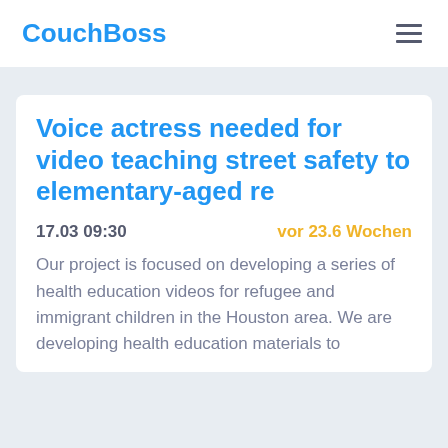CouchBoss
Voice actress needed for video teaching street safety to elementary-aged re
17.03 09:30   vor 23.6 Wochen
Our project is focused on developing a series of health education videos for refugee and immigrant children in the Houston area. We are developing health education materials to